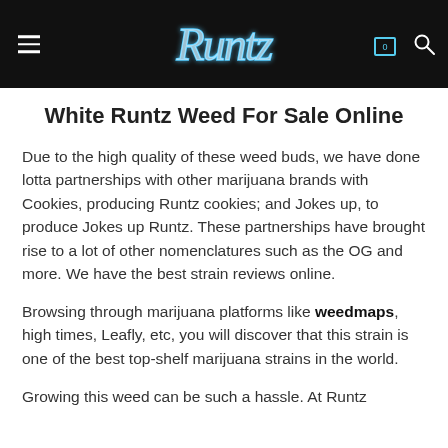Runtz [logo]
White Runtz Weed For Sale Online
Due to the high quality of these weed buds, we have done lotta partnerships with other marijuana brands with Cookies, producing Runtz cookies; and Jokes up, to produce Jokes up Runtz. These partnerships have brought rise to a lot of other nomenclatures such as the OG and more. We have the best strain reviews online.
Browsing through marijuana platforms like weedmaps, high times, Leafly, etc, you will discover that this strain is one of the best top-shelf marijuana strains in the world.
Growing this weed can be such a hassle. At Runtz